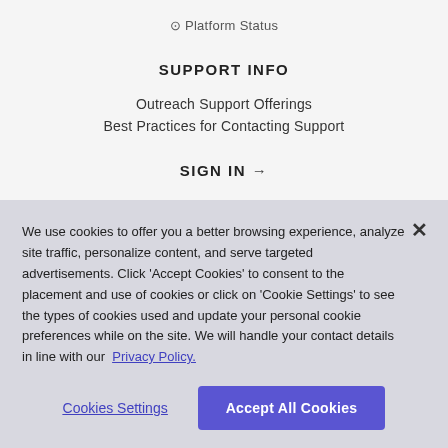⊙ Platform Status
SUPPORT INFO
Outreach Support Offerings
Best Practices for Contacting Support
SIGN IN →
We use cookies to offer you a better browsing experience, analyze site traffic, personalize content, and serve targeted advertisements. Click 'Accept Cookies' to consent to the placement and use of cookies or click on 'Cookie Settings' to see the types of cookies used and update your personal cookie preferences while on the site. We will handle your contact details in line with our Privacy Policy.
Cookies Settings
Accept All Cookies